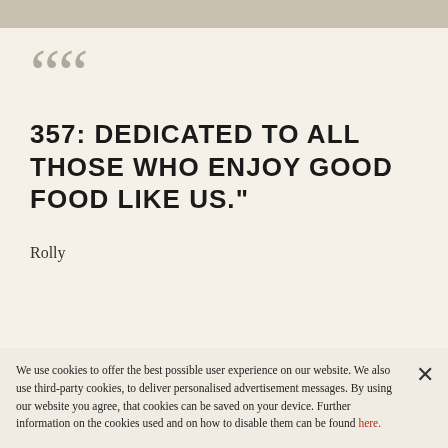““
357: DEDICATED TO ALL THOSE WHO ENJOY GOOD FOOD LIKE US."
Rolly
[Figure (photo): Photo of a restaurant table scene with glasses, bottles, and hands of people dining]
We use cookies to offer the best possible user experience on our website. We also use third-party cookies, to deliver personalised advertisement messages. By using our website you agree, that cookies can be saved on your device. Further information on the cookies used and on how to disable them can be found here.